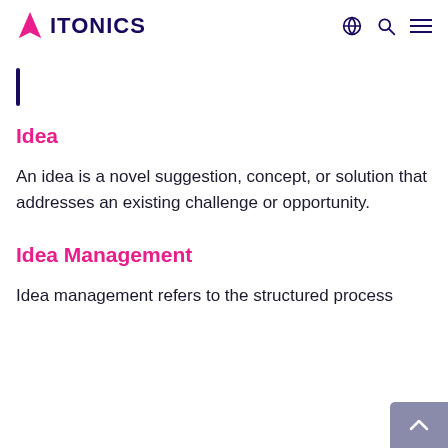ITONICS
|
Idea
An idea is a novel suggestion, concept, or solution that addresses an existing challenge or opportunity.
Idea Management
Idea management refers to the structured process